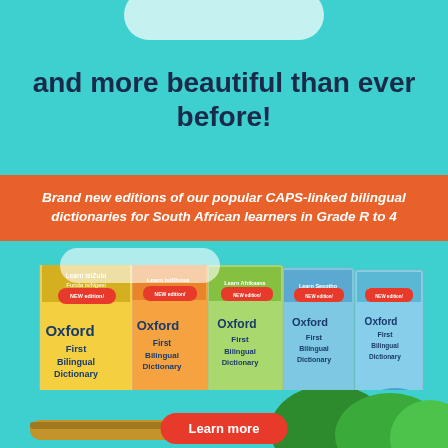and more beautiful than ever before!
Brand new editions of our popular CAPS-linked bilingual dictionaries for South African learners in Grade R to 4
[Figure (photo): Five Oxford First Bilingual Dictionary book covers arranged in a fan: English & isiZulu (yellow), English & isiXhosa (orange), English & Afrikaans (green), English & Sesotho (blue), English & Sesotho sa Leboa (light blue). Each has 'New edition' badge and illustrative children characters.]
Learn more